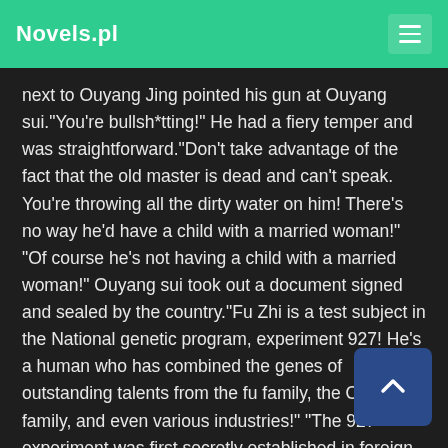Novels.pl
next to Ouyang Jing pointed his gun at Ouyang sui."You're bullsh*tting!" He had a fiery temper and was straightforward."Don't take advantage of the fact that the old master is dead and can't speak. You're throwing all the dirty water on him! There's no way he'd have a child with a married woman!" "Of course he's not having a child with a married woman!" Ouyang sui took out a document signed and sealed by the country."Fu Zhi is a test subject in the National genetic program, experiment 927! He's a human who has combined the genes of outstanding talents from the fu family, the Ouyang family, and even various industries!" "The 927 experiment was first secretly established in foreign countries a hundred years ago. However, it was not carried out because genetic engineering consumed a lot of human and material resources, and the medical equipment and technology were not developed enough at that time! Later on, our country's scientists began to research cloning